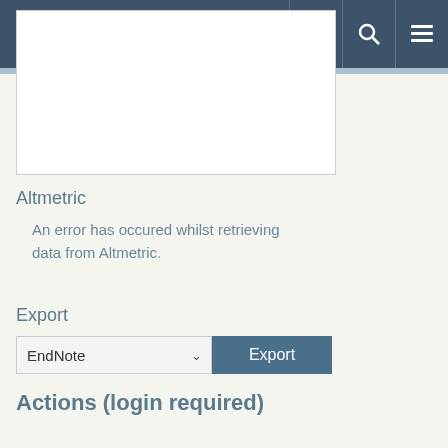Universität zu Köln
[Figure (screenshot): White document/content box area]
Altmetric
An error has occured whilst retrieving data from Altmetric.
Export
[Figure (screenshot): Export dropdown selector showing EndNote with Export button]
Actions (login required)